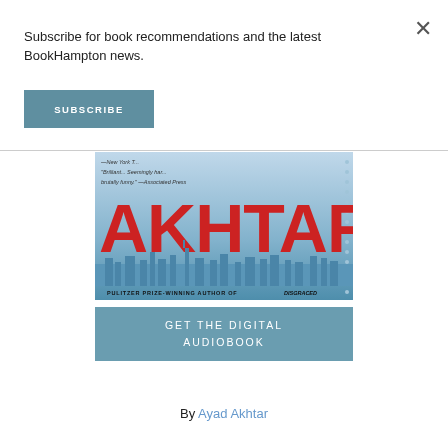Subscribe for book recommendations and the latest BookHampton news.
SUBSCRIBE
[Figure (illustration): Book cover showing the author name AKHTAR in large red letters on a blue background with city skyline, with blurbs and text 'PULITZER PRIZE-WINNING AUTHOR OF DISGRACED']
GET THE DIGITAL AUDIOBOOK
By Ayad Akhtar